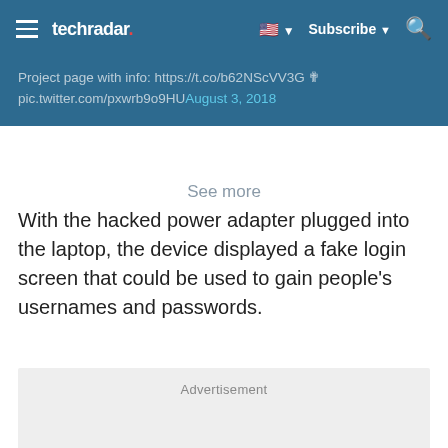techradar
Project page with info: https://t.co/b62NScVV3G ✟
pic.twitter.com/pxwrb9o9HU August 3, 2018
See more
With the hacked power adapter plugged into the laptop, the device displayed a fake login screen that could be used to gain people’s usernames and passwords.
Advertisement